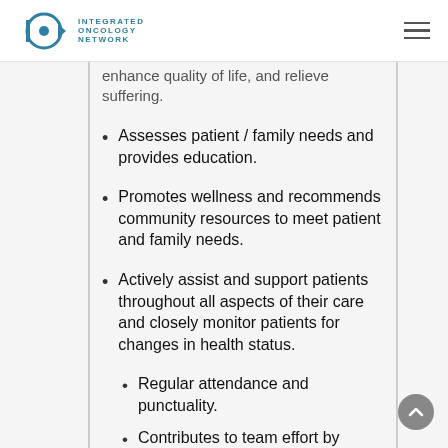Integrated Oncology Network
enhance quality of life, and relieve suffering.
Assesses patient / family needs and provides education.
Promotes wellness and recommends community resources to meet patient and family needs.
Actively assist and support patients throughout all aspects of their care and closely monitor patients for changes in health status.
Regular attendance and punctuality.
Contributes to team effort by accomplishing related results as